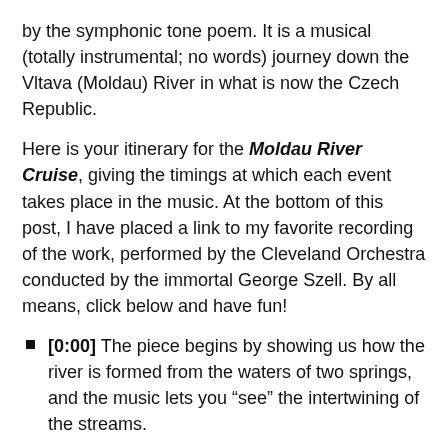by the symphonic tone poem. It is a musical (totally instrumental; no words) journey down the Vltava (Moldau) River in what is now the Czech Republic.
Here is your itinerary for the Moldau River Cruise, giving the timings at which each event takes place in the music. At the bottom of this post, I have placed a link to my favorite recording of the work, performed by the Cleveland Orchestra conducted by the immortal George Szell. By all means, click below and have fun!
[0:00] The piece begins by showing us how the river is formed from the waters of two springs, and the music lets you “see” the intertwining of the streams.
[1:08] The Moldau grows into a mighty river, represented by a popular Eastern European folk song (which lives today as Hatikvah (“The Hope”), the